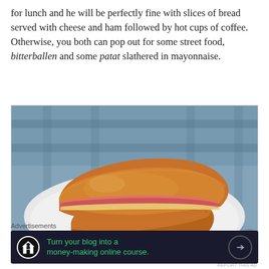for lunch and he will be perfectly fine with slices of bread served with cheese and ham followed by hot cups of coffee. Otherwise, you both can pop out for some street food, bitterballen and some patat slathered in mayonnaise.
[Figure (photo): A grilled ham and cheese sandwich cut in half and stacked on a white plate, with a blue checkered cloth in the background.]
Advertisements
[Figure (other): Advertisement banner with dark background showing 'Turn your blog into a money-making online course.' with a green arrow button.]